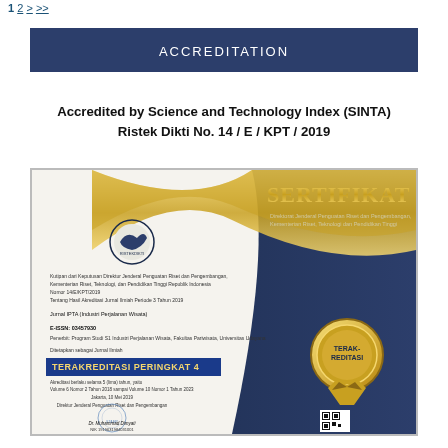1 2 > >>
ACCREDITATION
Accredited by Science and Technology Index (SINTA) Ristek Dikti No. 14 / E / KPT / 2019
[Figure (photo): Sertifikat (Certificate) image showing TERAKREDITASI PERINGKAT 4 from Direktorat Jenderal Penguatan Riset dan Pengembangan, Kementerian Riset, Teknologi dan Pendidikan Tinggi for Jurnal IPTA (Industri Perjalanan Wisata), E-ISSN: 03457930, signed by Dr. Muhammad Dimyati, Jakarta 10 Mei 2019, with a gold TERAKREDITASI medal/ribbon seal.]